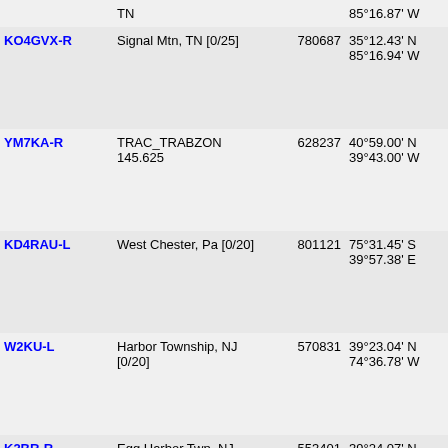| Callsign | Location | Node | Coordinates | Grid |
| --- | --- | --- | --- | --- |
|  | TN |  | 85°16.87' W |  |
| KO4GVX-R | Signal Mtn, TN [0/25] | 780687 | 35°12.43' N 85°16.94' W | EM75ie |
| YM7KA-R | TRAC_TRABZON 145.625 | 628237 | 40°59.00' N 39°43.00' W | HN00dx |
| KD4RAU-L | West Chester, Pa [0/20] | 801121 | 75°31.45' S 39°57.38' E | KB94xl |
| W2KU-L | Harbor Township, NJ [0/20] | 570831 | 39°23.04' N 74°36.78' W | FM29qj |
| K2BR-R | Egg Harbor Twp, NJ /Private | 553401 | 39°24.07' N 74°38.07' W | FM29qj |
| WA3NAN-R | Greenbelt MD USA | 40045 | 39°00.00' N 76°00.00' W | FM29aa |
| KM4MPF-R | Signal Mtn, TN Sequatchie C | 946756 | 35°14.08' N 85°24.68' W | EM75hf |
| W8UFO-L | Knoxville, TN USA [0/5] | 44686 | 35°57.03' N 84°00.41' W | EM75xw |
| W8UFO-R | Knoxville, TN USA [0/5] | 262151 | 35°57.03' N 84°00.41' W | EM75xw |
| W4FMX-L | Huntsville, AL [0/20] | 343220 | 34°42.62' N 86°32.03' W | EM64rr |